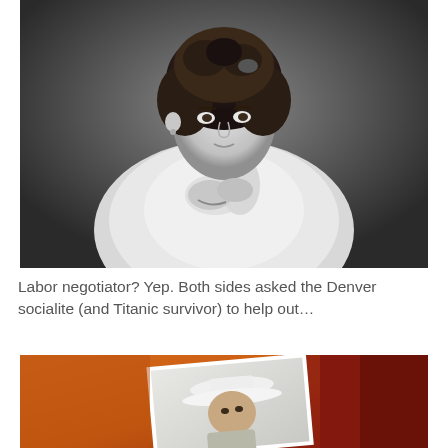[Figure (photo): Black and white portrait photograph of a woman from the early 1900s with curly dark hair, wearing a white lace dress with high collar, hands clasped near her chest, looking slightly to the side.]
Labor negotiator? Yep. Both sides asked the Denver socialite (and Titanic survivor) to help out…
[Figure (photo): Color photo showing a man wearing a white cowboy hat and light shirt, with an orange and dark red background, appearing to be a film or TV still.]